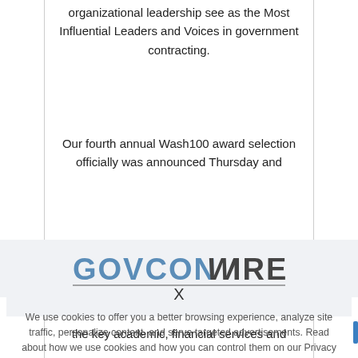organizational leadership see as the Most Influential Leaders and Voices in government contracting.
Our fourth annual Wash100 award selection officially was announced Thursday and
[Figure (logo): GovConWire logo — GOVCON in blue/steel and WIRE in dark gray with a stylized W, underlined]
We use cookies to offer you a better browsing experience, analyze site traffic, personalize content, and serve targeted advertisements. Read about how we use cookies and how you can control them on our Privacy Policy. If you continue to use this site, you consent to our use of cookies.
X
the key academic, financial services and